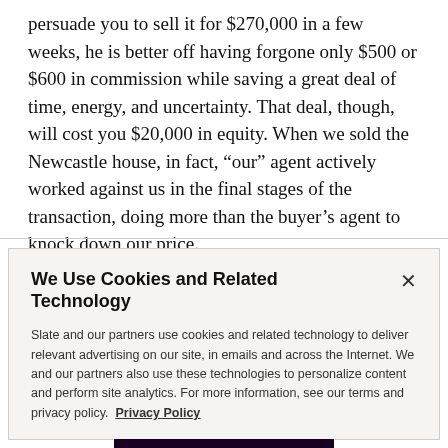persuade you to sell it for $270,000 in a few weeks, he is better off having forgone only $500 or $600 in commission while saving a great deal of time, energy, and uncertainty. That deal, though, will cost you $20,000 in equity. When we sold the Newcastle house, in fact, “our” agent actively worked against us in the final stages of the transaction, doing more than the buyer’s agent to knock down our price.
We Use Cookies and Related Technology
Slate and our partners use cookies and related technology to deliver relevant advertising on our site, in emails and across the Internet. We and our partners also use these technologies to personalize content and perform site analytics. For more information, see our terms and privacy policy. Privacy Policy
OK